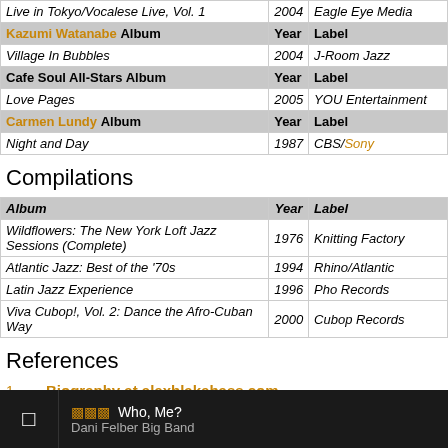| Album | Year | Label |
| --- | --- | --- |
| Live in Tokyo/Vocalese Live, Vol. 1 | 2004 | Eagle Eye Media |
| Kazumi Watanabe Album | Year | Label |
| Village In Bubbles | 2004 | J-Room Jazz |
| Cafe Soul All-Stars Album | Year | Label |
| Love Pages | 2005 | YOU Entertainment |
| Carmen Lundy Album | Year | Label |
| Night and Day | 1987 | CBS/Sony |
Compilations
| Album | Year | Label |
| --- | --- | --- |
| Wildflowers: The New York Loft Jazz Sessions (Complete) | 1976 | Knitting Factory |
| Atlantic Jazz: Best of the '70s | 1994 | Rhino/Atlantic |
| Latin Jazz Experience | 1996 | Pho Records |
| Viva Cubop!, Vol. 2: Dance the Afro-Cuban Way | 2000 | Cubop Records |
References
1 Biography at alexblakebass.com
Who, Me? — Dani Felber Big Band